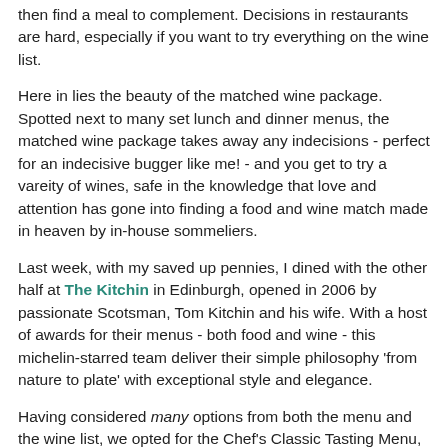then find a meal to complement. Decisions in restaurants are hard, especially if you want to try everything on the wine list.
Here in lies the beauty of the matched wine package. Spotted next to many set lunch and dinner menus, the matched wine package takes away any indecisions - perfect for an indecisive bugger like me! - and you get to try a vareity of wines, safe in the knowledge that love and attention has gone into finding a food and wine match made in heaven by in-house sommeliers.
Last week, with my saved up pennies, I dined with the other half at The Kitchin in Edinburgh, opened in 2006 by passionate Scotsman, Tom Kitchin and his wife. With a host of awards for their menus - both food and wine - this michelin-starred team deliver their simple philosophy 'from nature to plate' with exceptional style and elegance.
Having considered many options from both the menu and the wine list, we opted for the Chef's Classic Tasting Menu, and the matched wine package to accompany which was daring as all choice and decision was removed but w...